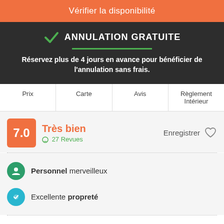Vérifier la disponibilité
ANNULATION GRATUITE
Réservez plus de 4 jours en avance pour bénéficier de l'annulation sans frais.
Prix | Carte | Avis | Règlement Intérieur
7.0  Très bien  27 Revues  Enregistrer
Personnel merveilleux
Excellente propreté
My Total Experience is a family business of young islanders linked to tourism, for those who want to explore a destination living unforgettable experiences, meeting people, discovering cultures, tasting gastronomy, enjoying rhythms and above all resting very well.